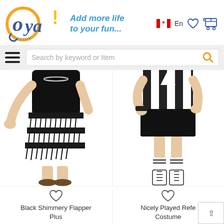[Figure (logo): Oya Costumes logo with orange circle and blue text, tagline 'Add more life to your fun...' in blue italic, Canadian flag with 'En', heart icon, and shopping cart with 0]
[Figure (screenshot): Search bar with hamburger menu icon and search field 'Search by keyword or Item' with orange magnifying glass icon]
[Figure (photo): Woman wearing a black shimmery fringe flapper costume, plus size, shown from shoulders to feet]
[Figure (photo): Woman wearing a black and white striped referee costume with black skirt and lace-up boots]
Black Shimmery Flapper Plus
Nicely Played Refe Costume